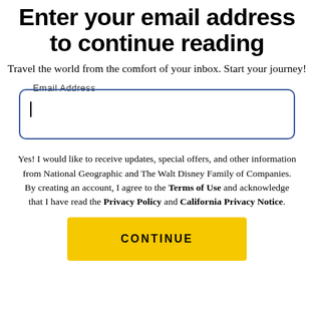Enter your email address to continue reading
Travel the world from the comfort of your inbox. Start your journey!
Email Address
Yes! I would like to receive updates, special offers, and other information from National Geographic and The Walt Disney Family of Companies. By creating an account, I agree to the Terms of Use and acknowledge that I have read the Privacy Policy and California Privacy Notice.
CONTINUE